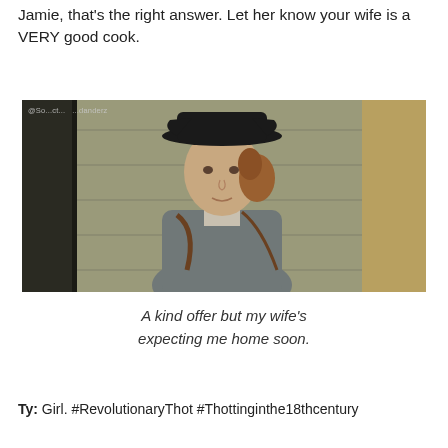Jamie, that’s the right answer. Let her know your wife is a VERY good cook.
[Figure (photo): A man in 18th-century colonial costume wearing a black tricorn hat, with reddish-brown hair tied back, a cravat, and a grey coat with leather strap. Watermark reads '@So...ct... ...danderz' in upper left.]
A kind offer but my wife’s expecting me home soon.
Ty: Girl. #RevolutionaryThot #Thottinginthe18thcentury